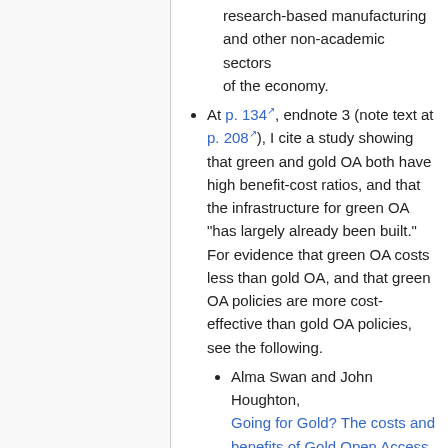research-based manufacturing and other non-academic sectors of the economy.
At p. 134, endnote 3 (note text at p. 208), I cite a study showing that green and gold OA both have high benefit-cost ratios, and that the infrastructure for green OA "has largely already been built." For evidence that green OA costs less than gold OA, and that green OA policies are more cost-effective than gold OA policies, see the following.
Alma Swan and John Houghton, Going for Gold? The costs and benefits of Gold Open Access for UK research institutions: further economic modelling. Report to the UK Open Access Implementation Group, June